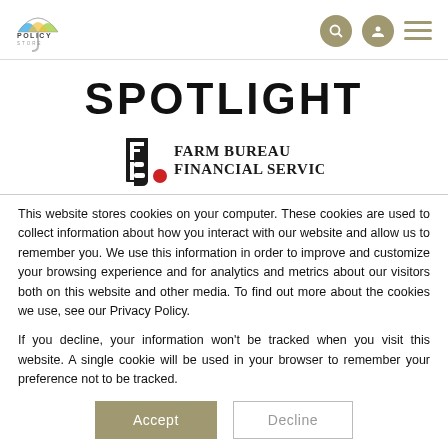POLICY STORE
SPOTLIGHT
[Figure (logo): Farm Bureau Financial Services logo with stylized FB letters and red accent]
This website stores cookies on your computer. These cookies are used to collect information about how you interact with our website and allow us to remember you. We use this information in order to improve and customize your browsing experience and for analytics and metrics about our visitors both on this website and other media. To find out more about the cookies we use, see our Privacy Policy.
If you decline, your information won’t be tracked when you visit this website. A single cookie will be used in your browser to remember your preference not to be tracked.